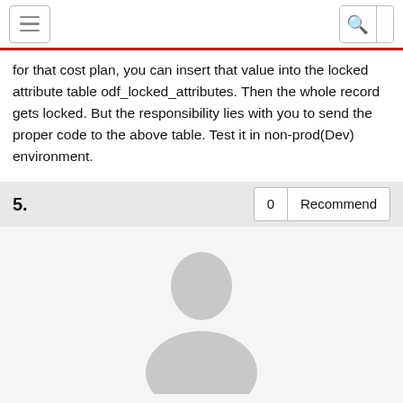navigation header with hamburger menu and search icon
for that cost plan, you can insert that value into the locked attribute table odf_locked_attributes. Then the whole record gets locked. But the responsibility lies with you to send the proper code to the above table. Test it in non-prod(Dev) environment.
The approach was used for cost plan and benefit plan.
https://communities.ca.com/thread/10044444
5.   0   Recommend
[Figure (illustration): Default user avatar silhouette in light gray]